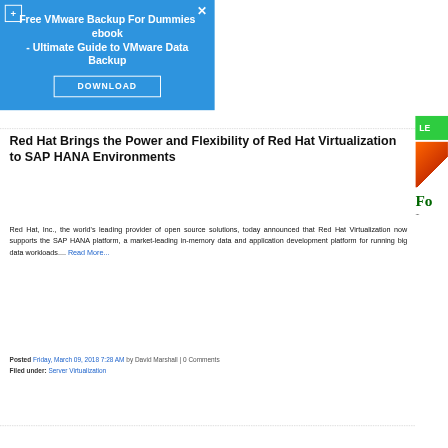[Figure (screenshot): Ad overlay banner: 'Free VMware Backup For Dummies ebook - Ultimate Guide to VMware Data Backup' with a DOWNLOAD button, blue background, plus icon top-left, X close button top-right.]
Red Hat Brings the Power and Flexibility of Red Hat Virtualization to SAP HANA Environments
Red Hat, Inc., the world's leading provider of open source solutions, today announced that Red Hat Virtualization now supports the SAP HANA platform, a market-leading in-memory data and application development platform for running big data workloads.... Read More...
Posted Friday, March 09, 2018 7:28 AM by David Marshall | 0 Comments
Filed under: Server Virtualization